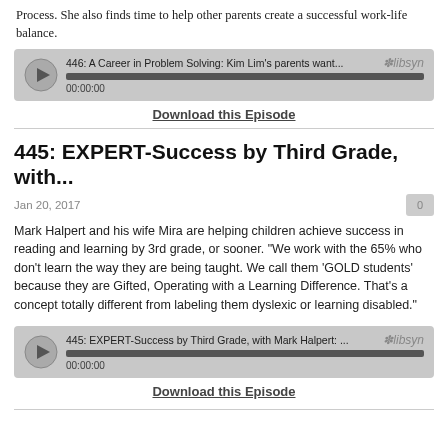Process.  She also finds time to help other parents create a successful work-life balance.
[Figure (screenshot): Audio player widget for episode 446: A Career in Problem Solving: Kim Lim's parents want... with libsyn branding, progress bar, and 00:00:00 timestamp]
Download this Episode
445: EXPERT-Success by Third Grade, with...
Jan 20, 2017
Mark Halpert and his wife Mira are helping children achieve success in reading and learning by 3rd grade, or sooner. "We work with the 65% who don't learn the way they are being taught. We call them ‘GOLD students’ because they are Gifted, Operating with a Learning Difference. That’s a concept totally different from labeling them dyslexic or learning disabled."
[Figure (screenshot): Audio player widget for episode 445: EXPERT-Success by Third Grade, with Mark Halpert: ... with libsyn branding, progress bar, and 00:00:00 timestamp]
Download this Episode